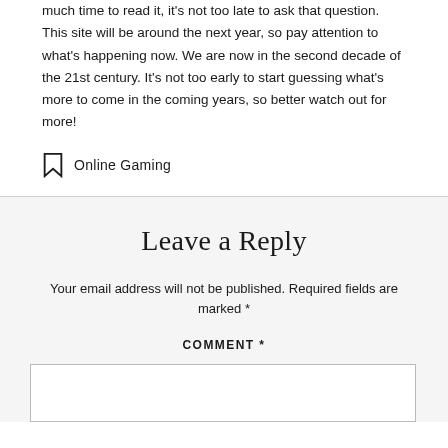much time to read it, it's not too late to ask that question. This site will be around the next year, so pay attention to what's happening now. We are now in the second decade of the 21st century. It's not too early to start guessing what's more to come in the coming years, so better watch out for more!
Online Gaming
Leave a Reply
Your email address will not be published. Required fields are marked *
COMMENT *